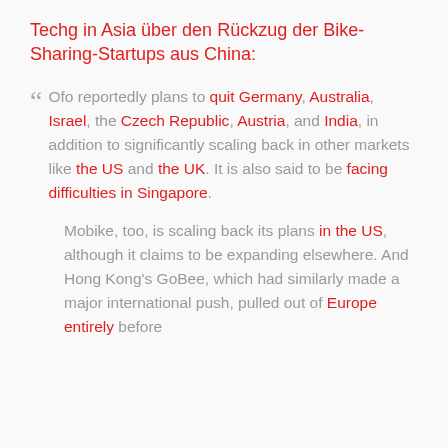Techg in Asia über den Rückzug der Bike-Sharing-Startups aus China:
" Ofo reportedly plans to quit Germany, Australia, Israel, the Czech Republic, Austria, and India, in addition to significantly scaling back in other markets like the US and the UK. It is also said to be facing difficulties in Singapore.
Mobike, too, is scaling back its plans in the US, although it claims to be expanding elsewhere. And Hong Kong's GoBee, which had similarly made a major international push, pulled out of Europe entirely before